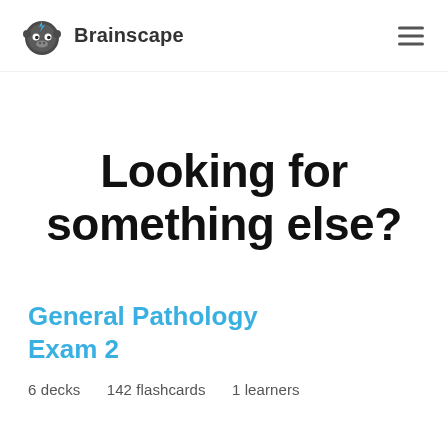Brainscape
Looking for something else?
General Pathology Exam 2
6 decks  142 flashcards  1 learners